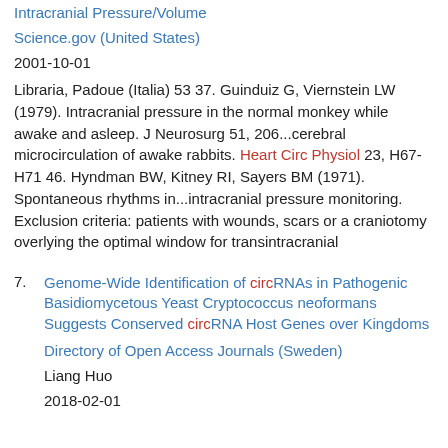Intracranial Pressure/Volume
Science.gov (United States)
2001-10-01
Libraria, Padoue (Italia) 53 37. Guinduiz G, Viernstein LW (1979). Intracranial pressure in the normal monkey while awake and asleep. J Neurosurg 51, 206...cerebral microcirculation of awake rabbits. Heart Circ Physiol 23, H67-H71 46. Hyndman BW, Kitney RI, Sayers BM (1971). Spontaneous rhythms in...intracranial pressure monitoring. Exclusion criteria: patients with wounds, scars or a craniotomy overlying the optimal window for transintracranial
7. Genome-Wide Identification of circRNAs in Pathogenic Basidiomycetous Yeast Cryptococcus neoformans Suggests Conserved circRNA Host Genes over Kingdoms
Directory of Open Access Journals (Sweden)
Liang Huo
2018-02-01